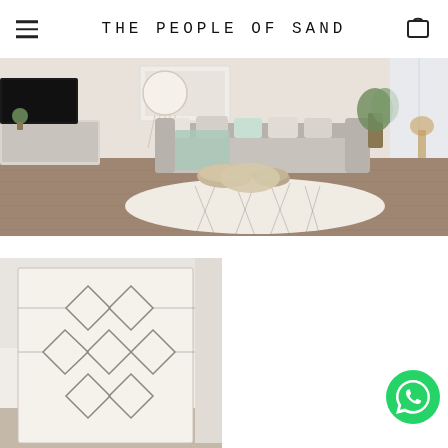THE PEOPLE OF SAND
[Figure (photo): Wide-angle photo of a Scandinavian/boho living room with a large white Beni Ourain rug featuring diamond patterns, gray sectional sofa with pillows, macrame hanging chair, TV unit, plants, and wooden coffee tables]
[Figure (photo): Close-up product photo of a white Beni Ourain rug with gray diamond/lattice pattern, leaning against a white wall]
[Figure (logo): WhatsApp contact button - green circle with white WhatsApp phone icon]